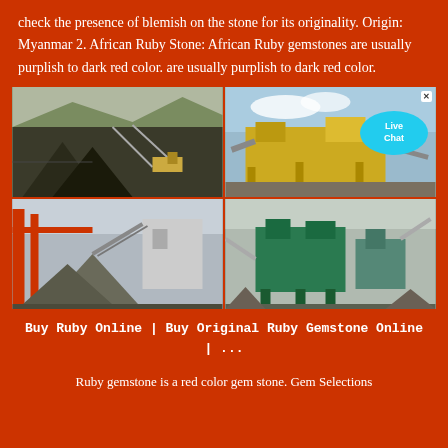check the presence of blemish on the stone for its originality. Origin: Myanmar 2. African Ruby Stone: African Ruby gemstones are usually purplish to dark red color. are usually purplish to dark red color.
[Figure (photo): Four-panel image grid showing industrial mining and crushing equipment sites: top-left shows an open-pit mining landscape with conveyor belts and machinery; top-right shows a yellow industrial crusher/screening plant with a Live Chat bubble overlay; bottom-left shows an industrial plant with aggregate piles and red structural elements; bottom-right shows green industrial crushing machinery.]
Buy Ruby Online | Buy Original Ruby Gemstone Online | ...
Ruby gemstone is a red color gem stone. Gem Selections